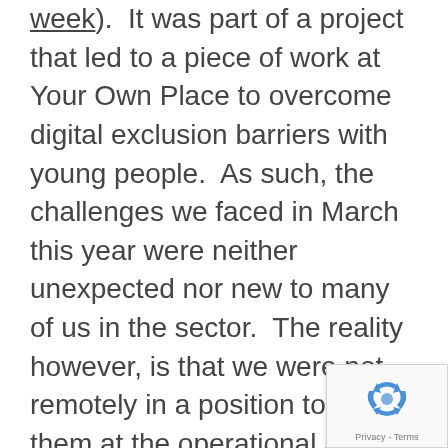week).  It was part of a project that led to a piece of work at Your Own Place to overcome digital exclusion barriers with young people.  As such, the challenges we faced in March this year were neither unexpected nor new to many of us in the sector.  The reality however, is that we were not remotely in a position to tackle them at the operational and systemic level at which they needed tackling.  If this was easy….
[Figure (other): reCAPTCHA badge with recycling-arrow logo and 'Privacy - Terms' text]